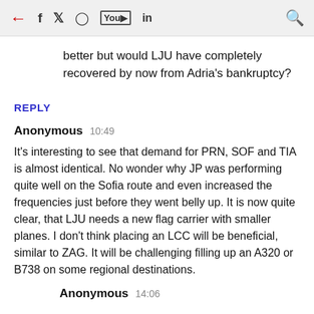← f 𝕏 📷 ▶ in 🔍
better but would LJU have completely recovered by now from Adria's bankruptcy?
REPLY
Anonymous  10:49
It's interesting to see that demand for PRN, SOF and TIA is almost identical. No wonder why JP was performing quite well on the Sofia route and even increased the frequencies just before they went belly up. It is now quite clear, that LJU needs a new flag carrier with smaller planes. I don't think placing an LCC will be beneficial, similar to ZAG. It will be challenging filling up an A320 or B738 on some regional destinations.
Anonymous  14:06